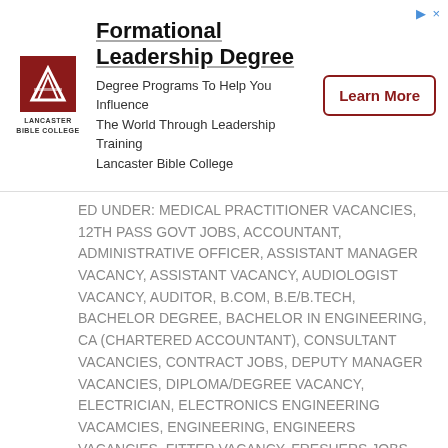[Figure (logo): Lancaster Bible College advertisement banner with logo, title 'Formational Leadership Degree', description text, and 'Learn More' button]
ED UNDER: MEDICAL PRACTITIONER VACANCIES, 12TH PASS GOVT JOBS, ACCOUNTANT, ADMINISTRATIVE OFFICER, ASSISTANT MANAGER VACANCY, ASSISTANT VACANCY, AUDIOLOGIST VACANCY, AUDITOR, B.COM, B.E/B.TECH, BACHELOR DEGREE, BACHELOR IN ENGINEERING, CA (CHARTERED ACCOUNTANT), CONSULTANT VACANCIES, CONTRACT JOBS, DEPUTY MANAGER VACANCIES, DIPLOMA/DEGREE VACANCY, ELECTRICIAN, ELECTRONICS ENGINEERING VACAMCIES, ENGINEERING, ENGINEERS VACANCIES, FITTER VACANCY, FRESHERS JOBS, GENERAL MANAGER VACANCIES, GRADUATE/GRADUATION, ITI RECRUITMENT, KANPUR CITY, M.C.A ( MASTER OF COMPUTER APPLICATIONS), MACHINIST, MANAGER VACANCY, MASTER DEGREE, MATRICULATION/10TH-PASS, MBA, MBBS VACANCY, MECHANICAL ENGINEERING, OFFICER VACANCIES, OPERATOR VACANCIES, POST GRADUATION, PSU JOB VACANCY, SENIOR MANAGER, STORE KEEPER VACANCY, WALK IN INTERVIEW